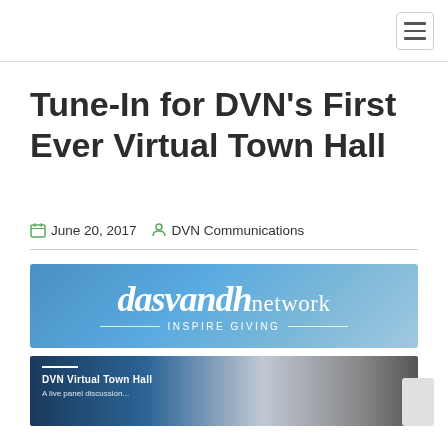Navigation header with hamburger menu
Tune-In for DVN’s First Ever Virtual Town Hall
June 20, 2017   DVN Communications
[Figure (logo): Dasvandh Network logo banner with blue gradient background, 'dasvandh' in bold italic serif and 'network' in regular weight, tagline 'INSPIRE GIVING' below with decorative lines]
[Figure (photo): DVN Virtual Town Hall promotional banner partially visible, showing text 'DVN Virtual Town Hall / A live panel discussion' and images of people]